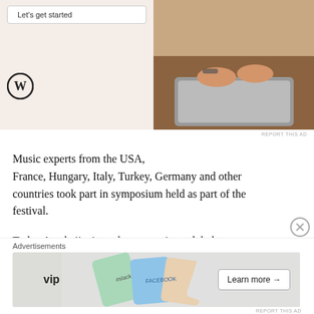[Figure (photo): Advertisement banner: WordPress 'Let's get started' button on beige background with WordPress logo, and a photo of hands typing on a laptop on the right side.]
REPORT THIS AD
Music experts from the USA, France, Hungary, Italy, Turkey, Germany and other countries took part in symposium held as part of the festival.
Today Azerbaijani mugham art enjoys global success. The national mugham singers known as khanende, fascinate audiences at prestigious music events across the world.
A...
[Figure (advertisement): Advertisements banner at the bottom: WordPress VIP logo on left, colorful cards with Slack, Facebook logos in the center, and a 'Learn more →' button on the right.]
REPORT THIS AD